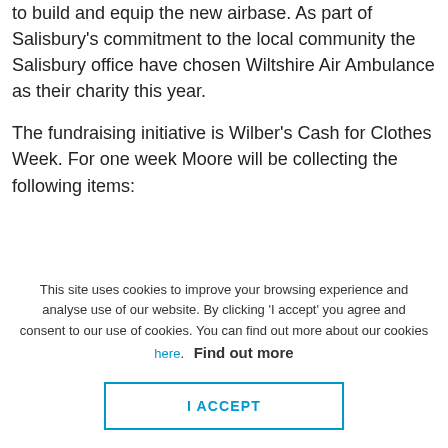to build and equip the new airbase. As part of Salisbury's commitment to the local community the Salisbury office have chosen Wiltshire Air Ambulance as their charity this year.
The fundraising initiative is Wilber's Cash for Clothes Week. For one week Moore will be collecting the following items:
Sheets, duvet covers, pillowcases
This site uses cookies to improve your browsing experience and analyse use of our website. By clicking 'I accept' you agree and consent to our use of cookies. You can find out more about our cookies here. Find out more
I ACCEPT